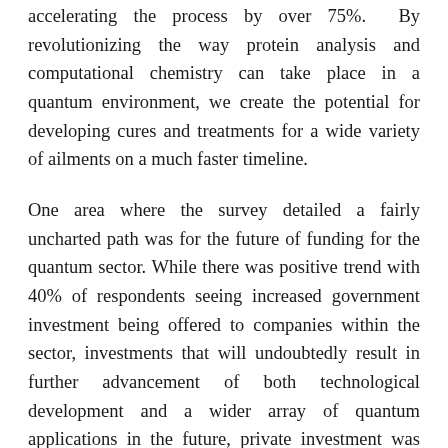accelerating the process by over 75%. By revolutionizing the way protein analysis and computational chemistry can take place in a quantum environment, we create the potential for developing cures and treatments for a wide variety of ailments on a much faster timeline.
One area where the survey detailed a fairly uncharted path was for the future of funding for the quantum sector. While there was positive trend with 40% of respondents seeing increased government investment being offered to companies within the sector, investments that will undoubtedly result in further advancement of both technological development and a wider array of quantum applications in the future, private investment was seen as lagging behind by respondents, with only 20% saying that they see funding for quantum applications coming from venture capital firms. The sector overall was seen by over